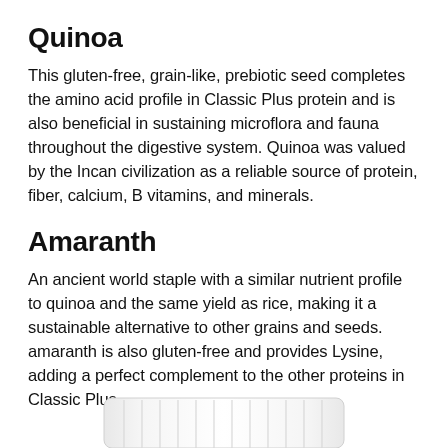Quinoa
This gluten-free, grain-like, prebiotic seed completes the amino acid profile in Classic Plus protein and is also beneficial in sustaining microflora and fauna throughout the digestive system. Quinoa was valued by the Incan civilization as a reliable source of protein, fiber, calcium, B vitamins, and minerals.
Amaranth
An ancient world staple with a similar nutrient profile to quinoa and the same yield as rice, making it a sustainable alternative to other grains and seeds. amaranth is also gluten-free and provides Lysine, adding a perfect complement to the other proteins in Classic Plus.
[Figure (photo): Bottom portion of a white product container/bottle visible at the bottom of the page]